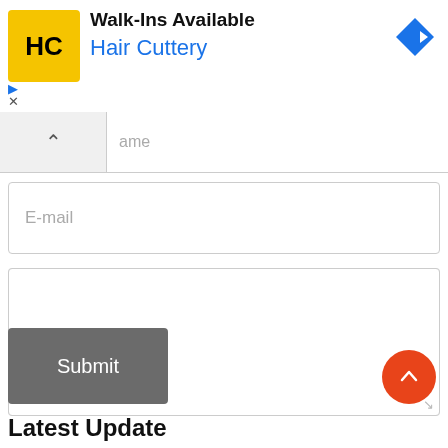[Figure (screenshot): Advertisement banner for Hair Cuttery with yellow HC logo, 'Walk-Ins Available' text, 'Hair Cuttery' brand name in blue, and a blue diamond navigation arrow icon on the right. Close/play icons on the lower left.]
ame
E-mail
[Figure (screenshot): Large empty textarea input field]
Submit
Latest Update